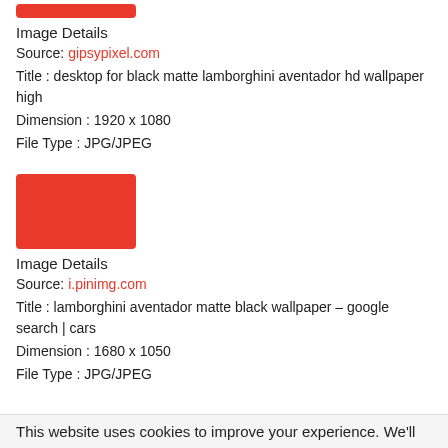[Figure (photo): Red/orange rectangular thumbnail image placeholder at top of page]
Image Details
Source: gipsypixel.com
Title : desktop for black matte lamborghini aventador hd wallpaper high
Dimension : 1920 x 1080
File Type : JPG/JPEG
[Figure (photo): Red/orange rectangular thumbnail image placeholder for second image]
Image Details
Source: i.pinimg.com
Title : lamborghini aventador matte black wallpaper – google search | cars
Dimension : 1680 x 1050
File Type : JPG/JPEG
This website uses cookies to improve your experience. We'll